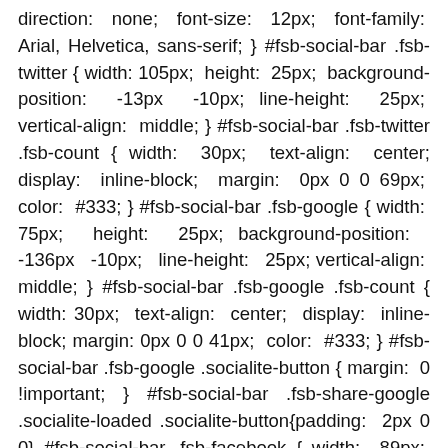direction: none; font-size: 12px; font-family: Arial, Helvetica, sans-serif; } #fsb-social-bar .fsb-twitter { width: 105px; height: 25px; background-position: -13px -10px; line-height: 25px; vertical-align: middle; } #fsb-social-bar .fsb-twitter .fsb-count { width: 30px; text-align: center; display: inline-block; margin: 0px 0 0 69px; color: #333; } #fsb-social-bar .fsb-google { width: 75px; height: 25px; background-position: -136px -10px; line-height: 25px; vertical-align: middle; } #fsb-social-bar .fsb-google .fsb-count { width: 30px; text-align: center; display: inline-block; margin: 0px 0 0 41px; color: #333; } #fsb-social-bar .fsb-google .socialite-button { margin: 0 !important; } #fsb-social-bar .fsb-share-google .socialite-loaded .socialite-button{padding: 2px 0 0} #fsb-social-bar .fsb-facebook { width: 89px; height: 25px; background-position: -231px -10px; line-height: 25px; vertical-align: middle; } #fsb-social-bar .fsb-facebook .fsb-count { width: 30px; text-align: center; display: inline-block; margin: 0px 0 0 52px; color: #333; } #fsb-social-bar .fsb-facebook .socialite-button {